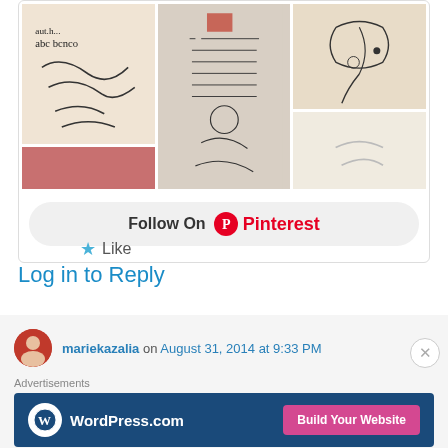[Figure (screenshot): Pinterest widget showing a grid of handwritten/artistic sketch images]
Follow On Pinterest
★ Like
Log in to Reply
mariekazalia on August 31, 2014 at 9:33 PM
Advertisements
[Figure (screenshot): WordPress.com advertisement banner with Build Your Website button]